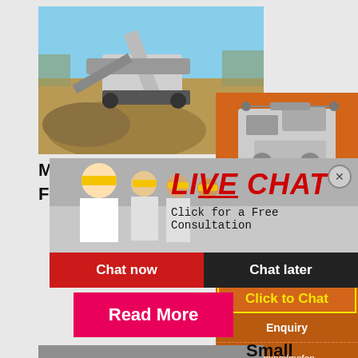[Figure (photo): Outdoor photo of industrial mining/crushing machinery with large rock pile, taken under blue sky]
Mo...
For...
[Figure (photo): Live chat popup overlay showing workers in yellow hard hats with LIVE CHAT heading in red italic text and 'Click for a Free Consultation' subtext. Chat now (red) and Chat later (dark) buttons at bottom.]
[Figure (photo): Right sidebar orange panel showing two industrial crusher machine images]
Enjoy 3% discount
Click to Chat
Enquiry
limingjlmofen@sina.com
G...
Read More
[Figure (photo): Bottom partial photo of industrial equipment/machinery]
Small